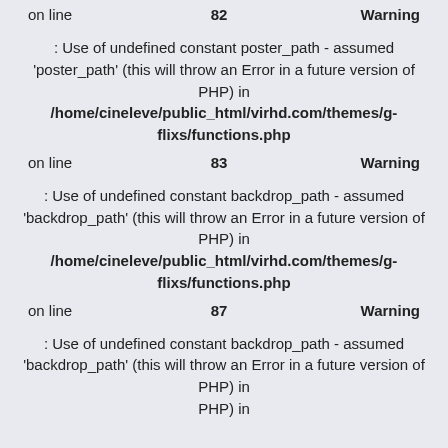on line   82   Warning
: Use of undefined constant poster_path - assumed 'poster_path' (this will throw an Error in a future version of PHP) in /home/cineleve/public_html/virhd.com/themes/g-flixs/functions.php
on line   83   Warning
: Use of undefined constant backdrop_path - assumed 'backdrop_path' (this will throw an Error in a future version of PHP) in /home/cineleve/public_html/virhd.com/themes/g-flixs/functions.php
on line   87   Warning
: Use of undefined constant backdrop_path - assumed 'backdrop_path' (this will throw an Error in a future version of PHP) in